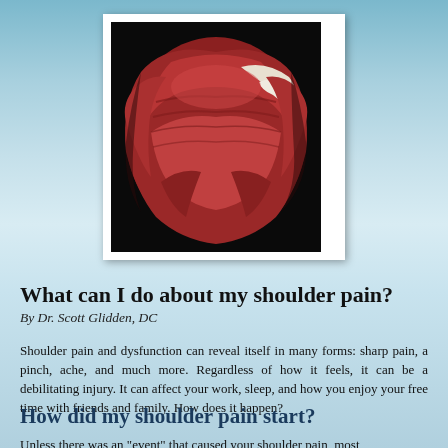[Figure (illustration): 3D anatomical illustration of shoulder muscles showing red muscle tissue and white tendons/ligaments from a posterior view, on a dark background]
What can I do about my shoulder pain?
By Dr. Scott Glidden, DC
Shoulder pain and dysfunction can reveal itself in many forms: sharp pain, a pinch, ache, and much more. Regardless of how it feels, it can be a debilitating injury. It can affect your work, sleep, and how you enjoy your free time with friends and family. How does it happen?
How did my shoulder pain start?
Unless there was an "event" that caused your shoulder pain, most